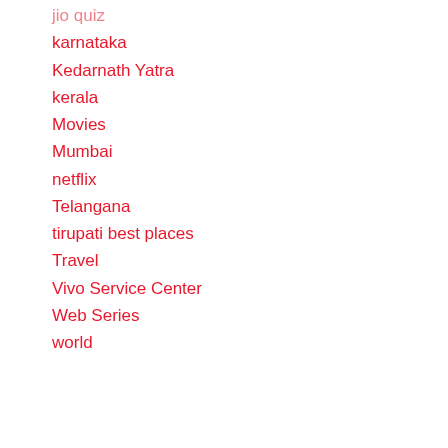jio quiz
karnataka
Kedarnath Yatra
kerala
Movies
Mumbai
netflix
Telangana
tirupati best places
Travel
Vivo Service Center
Web Series
world